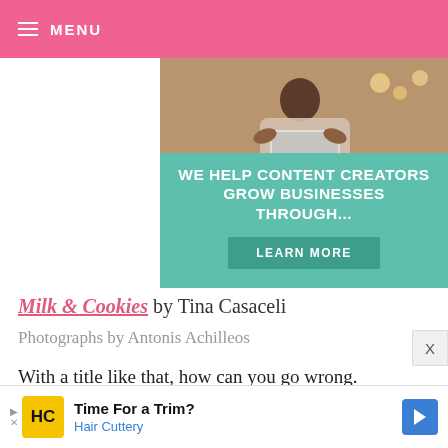MENU
[Figure (advertisement): Ad banner: Woman working on laptop photo above teal background with text 'WE HELP CONTENT CREATORS GROW BUSINESSES THROUGH...' and a 'LEARN MORE' button]
Milk & Cookies by Tina Casaceli
Photographs by Antonis Achilleos
With a title like that, how can you go wrong. Divided by vanilla cookies, double chocolate cookies, oatmeal cookies, peanut butter cookies, sugar
[Figure (advertisement): Bottom ad bar: Hair Cuttery ad with yellow HC logo, 'Time For a Trim?' headline, and blue directional arrow]